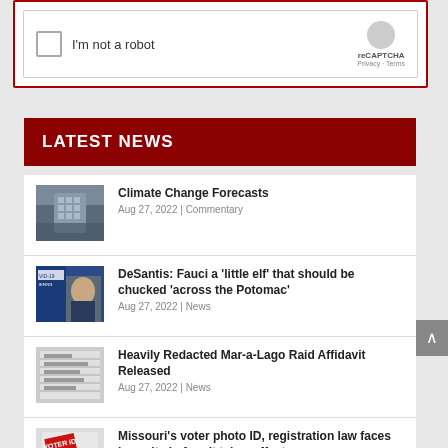[Figure (screenshot): reCAPTCHA widget showing checkbox 'I'm not a robot' with reCAPTCHA logo, Privacy and Terms links]
LATEST NEWS
Climate Change Forecasts | Aug 27, 2022 | Commentary
DeSantis: Fauci a 'little elf' that should be chucked 'across the Potomac' | Aug 27, 2022 | News
Heavily Redacted Mar-a-Lago Raid Affidavit Released | Aug 27, 2022 | News
Missouri's voter photo ID, registration law faces lawsuits before it takes effect | Aug 27, 2022 | News